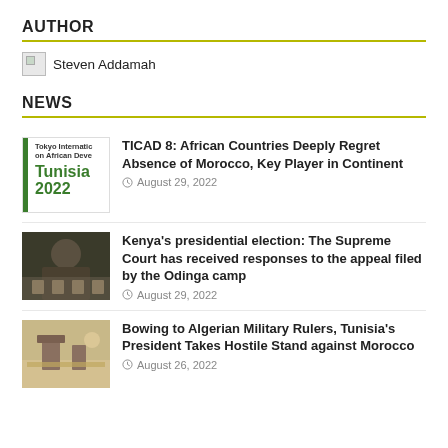AUTHOR
Steven Addamah
NEWS
TICAD 8: African Countries Deeply Regret Absence of Morocco, Key Player in Continent
August 29, 2022
Kenya's presidential election: The Supreme Court has received responses to the appeal filed by the Odinga camp
August 29, 2022
Bowing to Algerian Military Rulers, Tunisia's President Takes Hostile Stand against Morocco
August 26, 2022